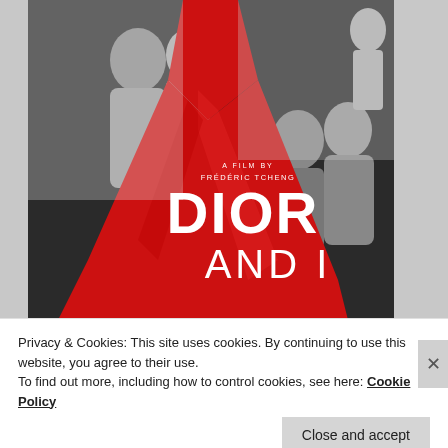[Figure (photo): Movie poster for 'Dior and I', a film by Frédéric Tcheng. Black and white photo of fashion atelier workers adjusting a dramatic red gown on a model. Large white text reads 'DIOR AND I' over the red dress. Text above reads 'A FILM BY FRÉDÉRIC TCHENG'.]
Privacy & Cookies: This site uses cookies. By continuing to use this website, you agree to their use.
To find out more, including how to control cookies, see here: Cookie Policy
Close and accept